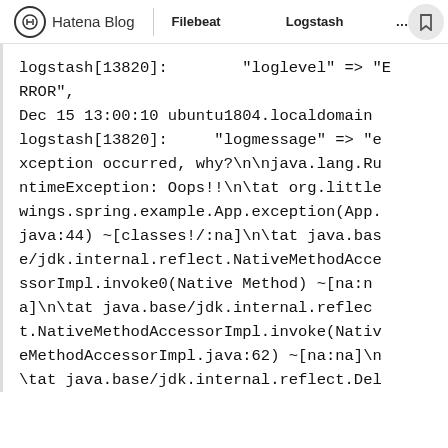Hatena Blog | Filebeat…Logstash….…
logstash[13820]:        "loglevel" => "ERROR",
Dec 15 13:00:10 ubuntu1804.localdomain logstash[13820]:     "logmessage" => "exception occurred, why?\n\njava.lang.RuntimeException: Oops!!\n\tat org.littlewings.spring.example.App.exception(App.java:44) ~[classes!/:na]\n\tat java.base/jdk.internal.reflect.NativeMethodAccessorImpl.invoke0(Native Method) ~[na:na]\n\tat java.base/jdk.internal.reflect.NativeMethodAccessorImpl.invoke(NativeMethodAccessorImpl.java:62) ~[na:na]\n\tat java.base/jdk.internal.reflect.Del